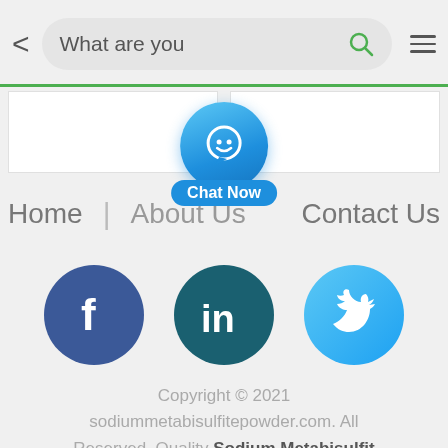[Figure (screenshot): Mobile browser navigation bar with back arrow, search box showing 'What are you' text with green search icon, and hamburger menu icon]
[Figure (screenshot): Two white tab/card areas with green top border, and a blue chat now button overlay in the center]
[Figure (screenshot): Website navigation links: Home, About Us, Contact Us]
[Figure (screenshot): Social media icons: Facebook, LinkedIn, Twitter]
Copyright © 2021 sodiummetabisulfitepowder.com. All Reserved. Quality Sodium Metabisulfite China Factory.